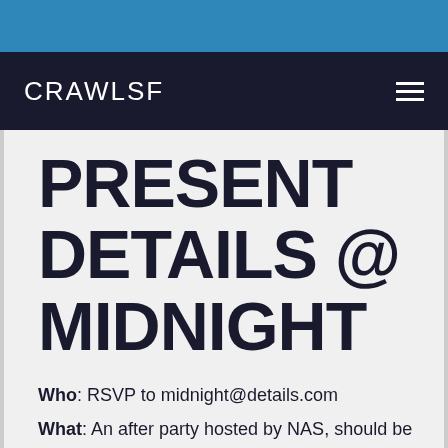CRAWLSF
PRESENT DETAILS @ MIDNIGHT
Who: RSVP to midnight@details.com
What: An after party hosted by NAS, should be a good time. Music by Zen Freeman and DJ Politik. 21+